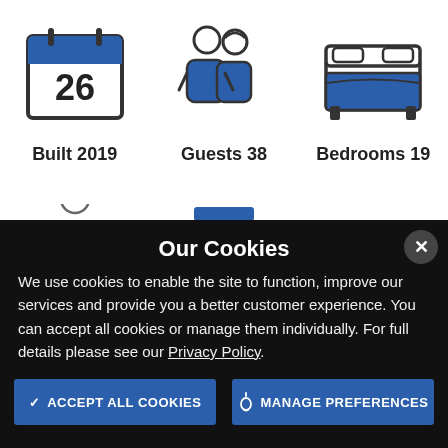[Figure (illustration): Calendar icon with '26' shown, blue header on calendar]
[Figure (illustration): Two people (couple) icon in blue tones]
[Figure (illustration): Bed/bedroom icon with blue bedding]
Built 2019
Guests 38
Bedrooms 19
Our Cookies
We use cookies to enable the site to function, improve our services and provide you a better customer experience. You can accept all cookies or manage them individually. For full details please see our Privacy Policy.
ACCEPT ALL COOKIES
MANAGE PREFERENCES